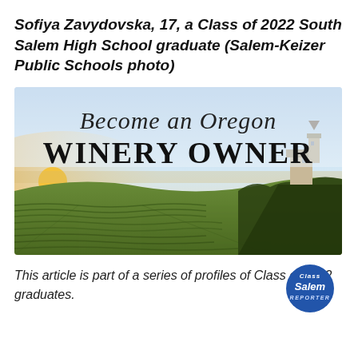Sofiya Zavydovska, 17, a Class of 2022 South Salem High School graduate (Salem-Keizer Public Schools photo)
[Figure (illustration): Advertisement image with sky and vineyard background. Cursive script reads 'Become an Oregon' and large serif bold text reads 'WINERY OWNER'. A winery building is visible on the right side among rolling vineyard rows.]
This article is part of a series of profiles of Class of 2022 graduates.